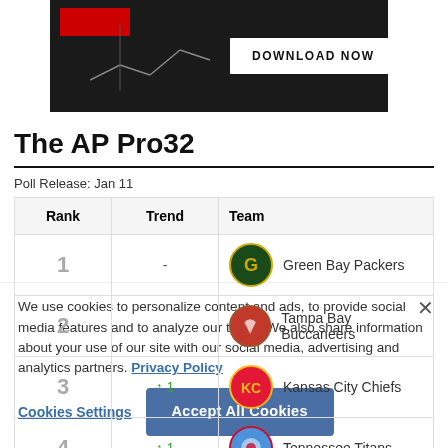[Figure (other): Dark advertisement banner with red accent bar and DOWNLOAD NOW button]
The AP Pro32
Poll Release: Jan 11
| Rank | Trend | Team |
| --- | --- | --- |
| 1 | - | Green Bay Packers |
| 2 |  | Tampa Bay Buccaneers |
| 3 | ↑ 1 | Kansas City Chiefs |
| 4 | ↑ 1 | Tennessee Titans |
We use cookies to personalize content and ads, to provide social media features and to analyze our traffic. We also share information about your use of our site with our social media, advertising and analytics partners. Privacy Policy
Cookies Settings   Accept All Cookies